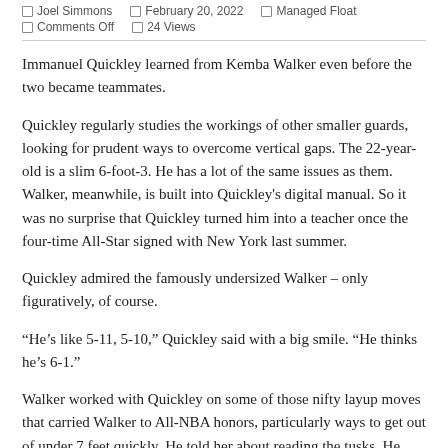Joel Simmons · February 20, 2022 · Managed Float · Comments Off · 24 Views
Immanuel Quickley learned from Kemba Walker even before the two became teammates.
Quickley regularly studies the workings of other smaller guards, looking for prudent ways to overcome vertical gaps. The 22-year-old is a slim 6-foot-3. He has a lot of the same issues as them. Walker, meanwhile, is built into Quickley's digital manual. So it was no surprise that Quickley turned him into a teacher once the four-time All-Star signed with New York last summer.
Quickley admired the famously undersized Walker – only figuratively, of course.
“He’s like 5-11, 5-10,” Quickley said with a big smile. “He thinks he’s 6-1.”
Walker worked with Quickley on some of those nifty layup moves that carried Walker to All-NBA honors, particularly ways to get out of under 7 feet quickly. He told her about reading the tusks. He